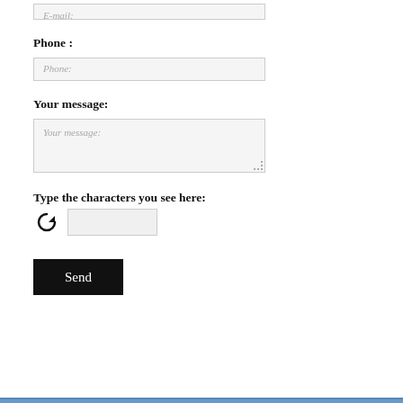E-mail:
Phone :
Phone:
Your message:
Your message:
Type the characters you see here:
[Figure (other): Refresh/reload icon (circular arrow) for CAPTCHA]
Send